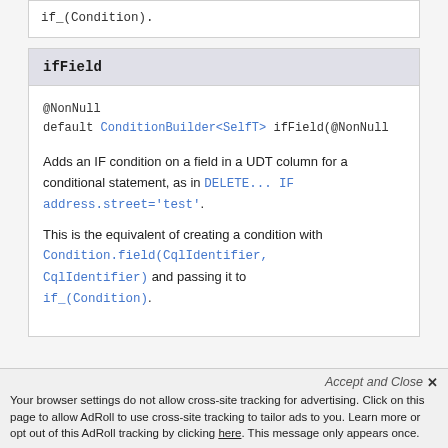if_(Condition).
ifField
@NonNull
default ConditionBuilder<SelfT> ifField(@NonNull
Adds an IF condition on a field in a UDT column for a conditional statement, as in DELETE...  IF address.street='test'.

This is the equivalent of creating a condition with Condition.field(CqlIdentifier, CqlIdentifier) and passing it to if_(Condition).
Accept and Close ×
Your browser settings do not allow cross-site tracking for advertising. Click on this page to allow AdRoll to use cross-site tracking to tailor ads to you. Learn more or opt out of this AdRoll tracking by clicking here. This message only appears once.